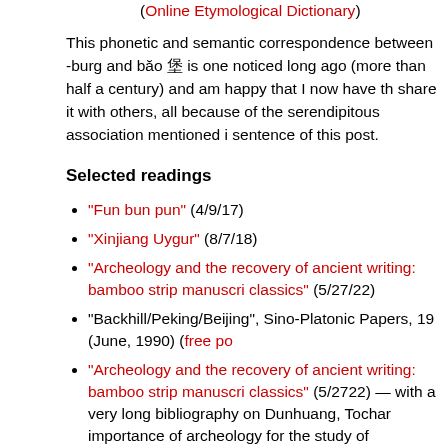(Online Etymological Dictionary)
This phonetic and semantic correspondence between -burg and băo 堡 is one noticed long ago (more than half a century) and am happy that I now have th share it with others, all because of the serendipitous association mentioned i sentence of this post.
Selected readings
"Fun bun pun" (4/9/17)
"Xinjiang Uygur" (8/7/18)
"Archeology and the recovery of ancient writing: bamboo strip manuscri classics" (5/27/22)
"Backhill/Peking/Beijing", Sino-Platonic Papers, 19 (June, 1990) (free po
"Archeology and the recovery of ancient writing: bamboo strip manuscri classics" (5/2722) — with a very long bibliography on Dunhuang, Tochar importance of archeology for the study of linguisitcs, etc.
Irene Good, "Notes on a Bronze Age textile fragment from Hami, Xinjan on significance of twill", Journal of Indo-European Studies, 23 (1995), 3
Victor Mair, "Reflections on the Origins of the Modern Standard Mandar 'Dunhuang' — With an Added Note on the Identity of the Modern Uighu 'Turpan'", in Li Zheng, et al., eds., Ji Xianlin Jiaoshou bashi huadan